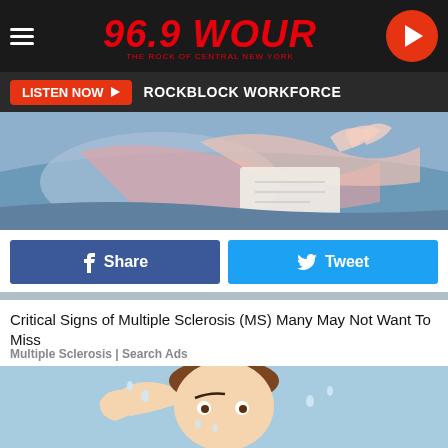96.9 WOUR — THE ROCK OF CENTRAL NEW YORK
LISTEN NOW ▶  ROCKBLOCK WORKFORCE
[Figure (illustration): Stylized illustration showing a reclining person in blue and pink tones, partial view]
f  Share
🐦  Tweet
Critical Signs of Multiple Sclerosis (MS) Many May Not Want To Miss
Multiple Sclerosis | Search Ads
[Figure (illustration): Cartoon illustration of a sweating person wiping their forehead, light blue background, depicting symptoms]